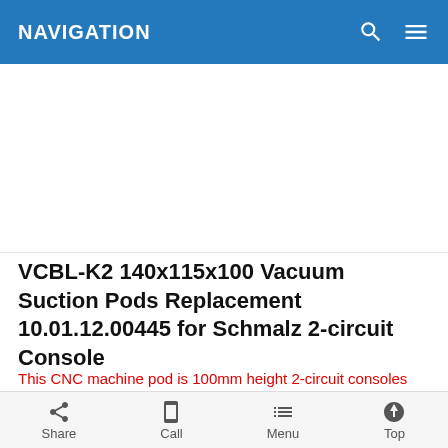NAVIGATION
[Figure (photo): Product image area — white/blank placeholder for VCBL-K2 vacuum suction pod product photo]
VCBL-K2 140x115x100 Vacuum Suction Pods Replacement 10.01.12.00445 for Schmalz 2-circuit Console
This CNC machine pod is 100mm height 2-circuit consoles vacuum block, VCBL-K2 140x115 H = 100 mm, same use as Schmalz part No. 10.01.12.00445 (old model 10.01.12.00408), Homag: 4-011-
Share  Call  Menu  Top